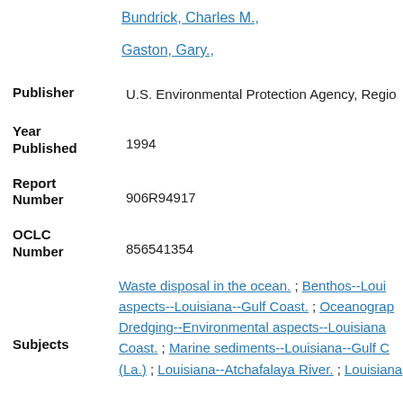Bundrick, Charles M.,
Gaston, Gary.,
Publisher: U.S. Environmental Protection Agency, Regio...
Year Published: 1994
Report Number: 906R94917
OCLC Number: 856541354
Subjects: Waste disposal in the ocean. ; Benthos--Loui... aspects--Louisiana--Gulf Coast. ; Oceanograp... Dredging--Environmental aspects--Louisiana... Coast. ; Marine sediments--Louisiana--Gulf C... (La.) ; Louisiana--Atchafalaya River. ; Louisiana...